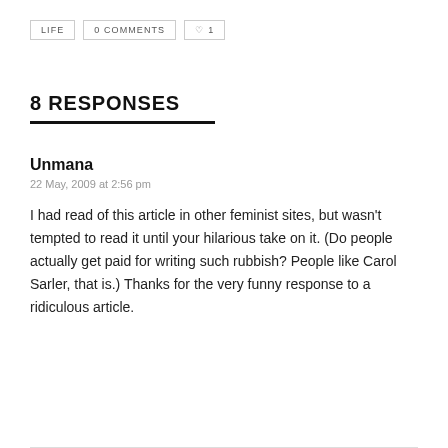LIFE   0 COMMENTS   ♡ 1
8 RESPONSES
Unmana
22 May, 2009 at 2:56 pm
I had read of this article in other feminist sites, but wasn't tempted to read it until your hilarious take on it. (Do people actually get paid for writing such rubbish? People like Carol Sarler, that is.) Thanks for the very funny response to a ridiculous article.